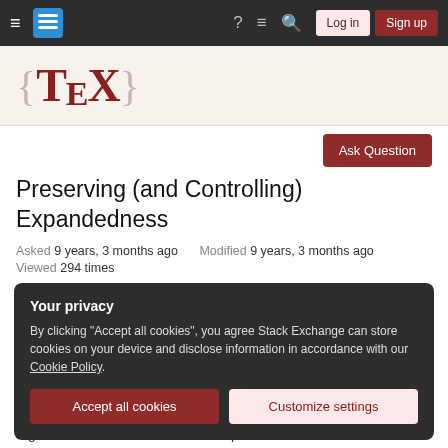Stack Exchange navigation bar with hamburger menu, logo, help, chat, search, Log in, Sign up buttons
[Figure (logo): TeX Stack Exchange logo: curly braces with TeX typography in dark red on light beige background]
Ask Question
Preserving (and Controlling) Expandedness
Asked 9 years, 3 months ago  Modified 9 years, 3 months ago
Viewed 294 times
Your privacy
By clicking "Accept all cookies", you agree Stack Exchange can store cookies on your device and disclose information in accordance with our Cookie Policy.
Accept all cookies  Customize settings
arguments with different levels of expandedness.